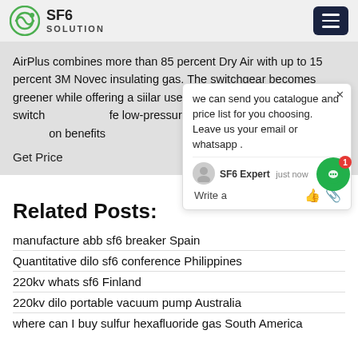SF6 SOLUTION
AirPlus combines more than 85 percent Dry Air with up to 15 percent 3M Novec insulating gas. The switchgear becomes greener while offering a similar user experience as in sf6 gas switchgear. The safe low-pressure design has similar dielectric insulation benefits
Get Price
we can send you catalogue and price list for you choosing. Leave us your email or whatsapp .
Related Posts:
manufacture abb sf6 breaker Spain
Quantitative dilo sf6 conference Philippines
220kv whats sf6 Finland
220kv dilo portable vacuum pump Australia
where can I buy sulfur hexafluoride gas South America